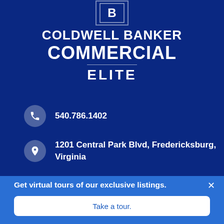[Figure (logo): Coldwell Banker Commercial Elite logo with stylized letter B in nested rectangles]
COLDWELL BANKER COMMERCIAL ELITE
540.786.1402
1201 Central Park Blvd, Fredericksburg, Virginia
Get virtual tours of our exclusive listings.
Take a tour.